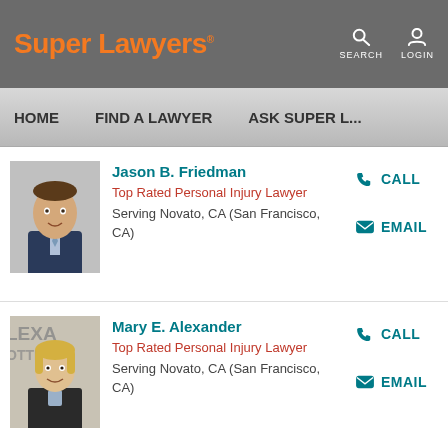Super Lawyers
HOME   FIND A LAWYER   ASK SUPER L...
Jason B. Friedman
Top Rated Personal Injury Lawyer
Serving Novato, CA (San Francisco, CA)
Mary E. Alexander
Top Rated Personal Injury Lawyer
Serving Novato, CA (San Francisco, CA)